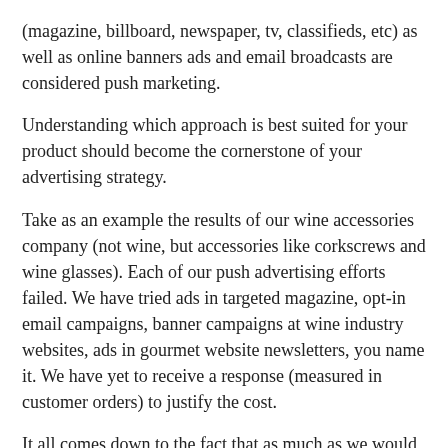(magazine, billboard, newspaper, tv, classifieds, etc) as well as online banners ads and email broadcasts are considered push marketing.
Understanding which approach is best suited for your product should become the cornerstone of your advertising strategy.
Take as an example the results of our wine accessories company (not wine, but accessories like corkscrews and wine glasses). Each of our push advertising efforts failed. We have tried ads in targeted magazine, opt-in email campaigns, banner campaigns at wine industry websites, ads in gourmet website newsletters, you name it. We have yet to receive a response (measured in customer orders) to justify the cost.
It all comes down to the fact that as much as we would like to think so, people don't really need $50 Austrian crystal